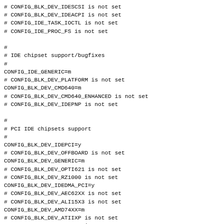# CONFIG_BLK_DEV_IDESCSI is not set
# CONFIG_BLK_DEV_IDEACPI is not set
# CONFIG_IDE_TASK_IOCTL is not set
# CONFIG_IDE_PROC_FS is not set

#
# IDE chipset support/bugfixes
#
CONFIG_IDE_GENERIC=m
# CONFIG_BLK_DEV_PLATFORM is not set
CONFIG_BLK_DEV_CMD640=m
# CONFIG_BLK_DEV_CMD640_ENHANCED is not set
# CONFIG_BLK_DEV_IDEPNP is not set

#
# PCI IDE chipsets support
#
CONFIG_BLK_DEV_IDEPCI=y
# CONFIG_BLK_DEV_OFFBOARD is not set
CONFIG_BLK_DEV_GENERIC=m
# CONFIG_BLK_DEV_OPTI621 is not set
# CONFIG_BLK_DEV_RZ1000 is not set
CONFIG_BLK_DEV_IDEDMA_PCI=y
# CONFIG_BLK_DEV_AEC62XX is not set
# CONFIG_BLK_DEV_ALI15X3 is not set
CONFIG_BLK_DEV_AMD74XX=m
# CONFIG_BLK_DEV_ATIIXP is not set
# CONFIG_BLK_DEV_CMD64X is not set
# CONFIG_BLK_DEV_TRIFLEX is not set
# CONFIG_BLK_DEV_CY82C693 is not set